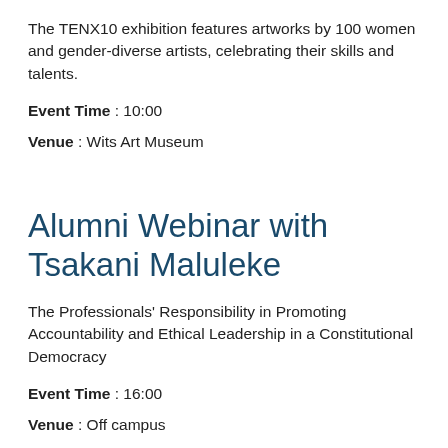The TENX10 exhibition features artworks by 100 women and gender-diverse artists, celebrating their skills and talents.
Event Time : 10:00
Venue : Wits Art Museum
Alumni Webinar with Tsakani Maluleke
The Professionals' Responsibility in Promoting Accountability and Ethical Leadership in a Constitutional Democracy
Event Time : 16:00
Venue : Off campus